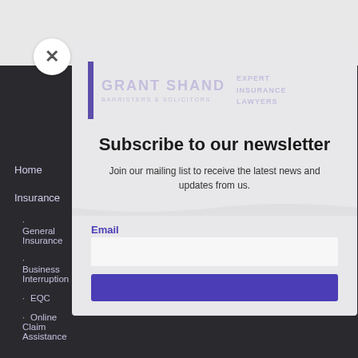[Figure (screenshot): Screenshot of Grant Shand Barristers & Solicitors website showing a newsletter subscription modal overlay on top of a dark navigation sidebar]
Subscribe to our newsletter
Join our mailing list to receive the latest news and updates from us.
Email
Home
Insurance
General Insurance
Business Interruption
EQC
Online Claim Assistance